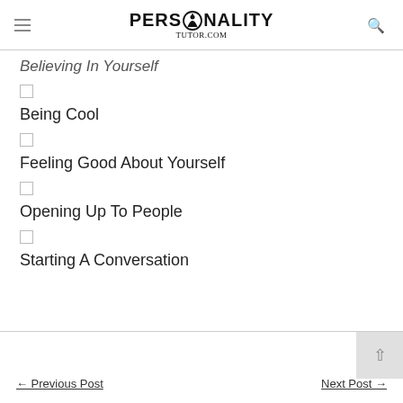[Figure (logo): PersonalityTutor.com logo with hamburger menu and search icon]
Believing In Yourself
Being Cool
Feeling Good About Yourself
Opening Up To People
Starting A Conversation
← Previous Post    Next Post →